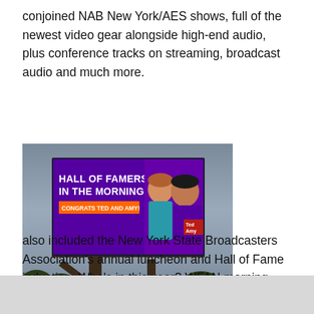conjoined NAB New York/AES shows, full of the newest video gear alongside high-end audio, plus conference tracks on streaming, broadcast audio and much more.
[Figure (photo): Billboard advertisement reading 'HALL OF FAMERS IN THE MORNING - CONGRATS TED AND AMY!' with two people pictured. Photo credit: Tom Mitchell/WNTQ]
The NAB/AES week
also included the New York State Broadcasters Association's annual luncheon and Hall of Fame induction. Who's in this year? WFAN morning host Boomer Esiason, for